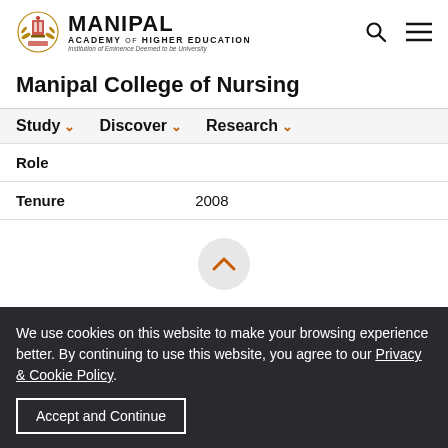MANIPAL ACADEMY OF HIGHER EDUCATION
Manipal College of Nursing
Study  Discover  Research
| Field | Value |
| --- | --- |
| Role |  |
| Tenure | 2008 |
We use cookies on this website to make your browsing experience better. By continuing to use this website, you agree to our Privacy & Cookie Policy.
Accept and Continue